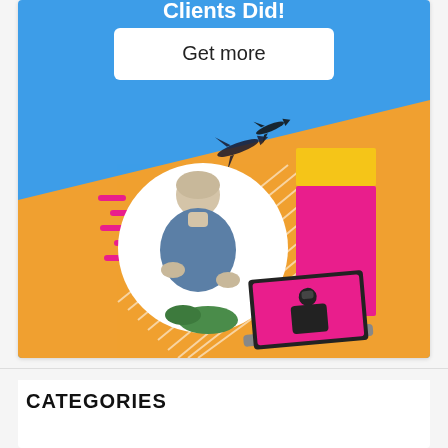[Figure (infographic): Colorful promotional banner on blue background with orange diagonal stripe, collage elements including a woman in denim jacket in a white circle, airplane silhouettes, pink/magenta blocks with a person using binoculars on a laptop screen, yellow rectangle, pink dashes and white stripe lines. A white rounded rectangle button reads 'Get more'.]
CATEGORIES